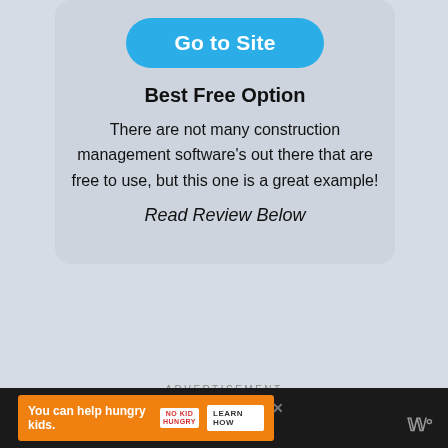[Figure (screenshot): Blue rounded button labeled 'Go to Site']
Best Free Option
There are not many construction management software's out there that are free to use, but this one is a great example!
Read Review Below
ADVERTISEMENT
[Figure (photo): Pink/magenta ad banner: 'Blood Pressure is serious' with a heart graphic]
[Figure (screenshot): Bottom black bar with orange ad: 'You can help hungry kids. NO KID HUNGRY LEARN HOW']